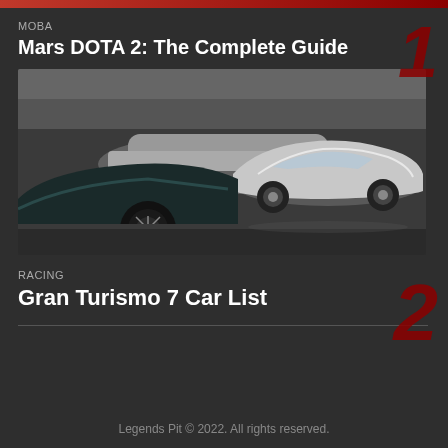MOBA
Mars DOTA 2: The Complete Guide
[Figure (photo): Screenshot from a racing video game showing futuristic concept cars in a garage or showroom environment. A sleek silver sports car is prominently featured on the right, with a dark racing car in the foreground left and another car in the background.]
RACING
Gran Turismo 7 Car List
Legends Pit © 2022. All rights reserved.